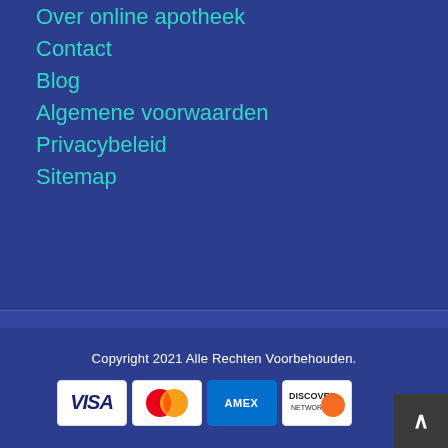Over online apotheek
Contact
Blog
Algemene voorwaarden
Privacybeleid
Sitemap
Copyright 2021 Alle Rechten Voorbehouden.
[Figure (other): Payment method icons: VISA, Mastercard, AMEX, Discover]